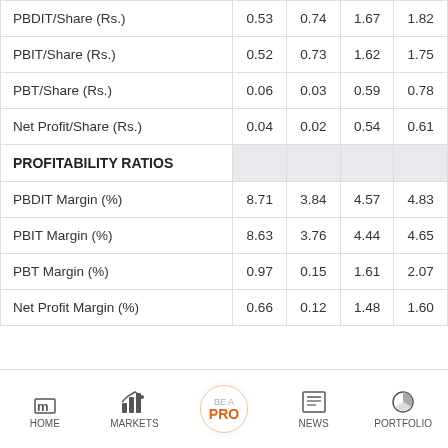|  |  |  |  |  |
| --- | --- | --- | --- | --- |
| PBDIT/Share (Rs.) | 0.53 | 0.74 | 1.67 | 1.82 |
| PBIT/Share (Rs.) | 0.52 | 0.73 | 1.62 | 1.75 |
| PBT/Share (Rs.) | 0.06 | 0.03 | 0.59 | 0.78 |
| Net Profit/Share (Rs.) | 0.04 | 0.02 | 0.54 | 0.61 |
| PROFITABILITY RATIOS |  |  |  |  |
| PBDIT Margin (%) | 8.71 | 3.84 | 4.57 | 4.83 |
| PBIT Margin (%) | 8.63 | 3.76 | 4.44 | 4.65 |
| PBT Margin (%) | 0.97 | 0.15 | 1.61 | 2.07 |
| Net Profit Margin (%) | 0.66 | 0.12 | 1.48 | 1.60 |
[Figure (infographic): Mobile app navigation footer bar with icons: HOME (house/m logo), MARKETS (bar chart), BE A PRO (orange circle button), NEWS (newspaper icon), PORTFOLIO (pie chart icon)]